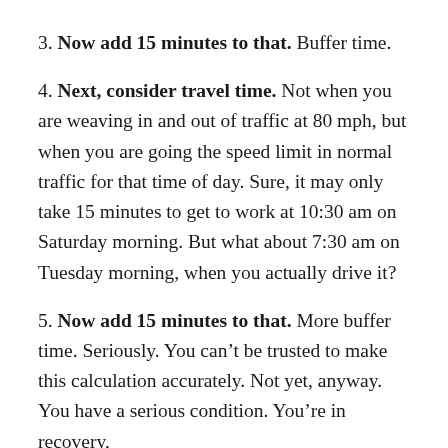3. Now add 15 minutes to that. Buffer time.
4. Next, consider travel time. Not when you are weaving in and out of traffic at 80 mph, but when you are going the speed limit in normal traffic for that time of day. Sure, it may only take 15 minutes to get to work at 10:30 am on Saturday morning. But what about 7:30 am on Tuesday morning, when you actually drive it?
5. Now add 15 minutes to that. More buffer time. Seriously. You can’t be trusted to make this calculation accurately. Not yet, anyway. You have a serious condition. You’re in recovery,